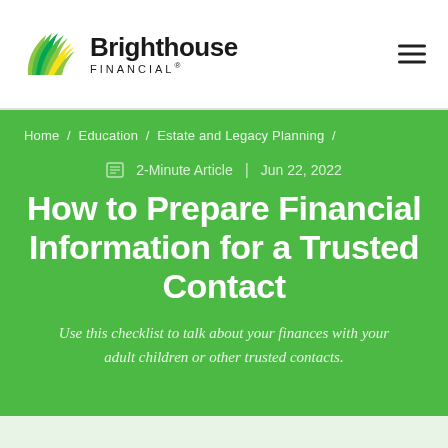[Figure (logo): Brighthouse Financial logo with stylized green and yellow leaf/sunburst icon and bold 'Brighthouse FINANCIAL' text]
Home / Education / Estate and Legacy Planning /
2-Minute Article  |  Jun 22, 2022
How to Prepare Financial Information for a Trusted Contact
Use this checklist to talk about your finances with your adult children or other trusted contacts.